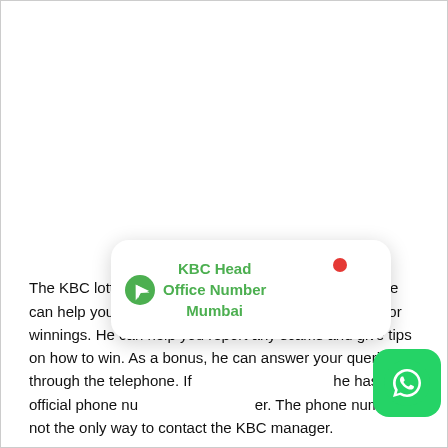[Figure (other): Tooltip popup showing 'KBC Head Office Number Mumbai' with a green arrow/send icon, a red dot indicator, and a WhatsApp green button icon in the bottom-right corner.]
The KBC lottery manager is available on WhatsApp. He can help you resolve any issues regarding your game or winnings. He can help you report any scams and give tips on how to win. As a bonus, he can answer your queries through the telephone. If [text obscured] he has an official phone number. The phone number is not the only way to contact the KBC manager.